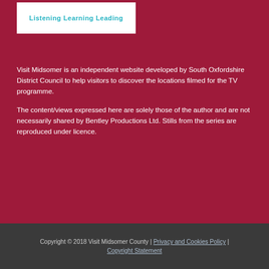[Figure (logo): White box with teal text reading 'Listening Learning Leading']
Visit Midsomer is an independent website developed by South Oxfordshire District Council to help visitors to discover the locations filmed for the TV programme.
The content/views expressed here are solely those of the author and are not necessarily shared by Bentley Productions Ltd. Stills from the series are reproduced under licence.
Copyright © 2018 Visit Midsomer County | Privacy and Cookies Policy | Copyright Statement